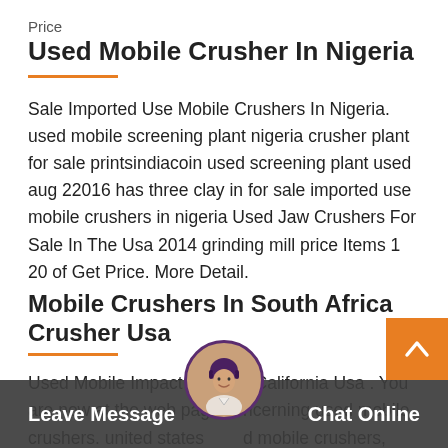Price
Used Mobile Crusher In Nigeria
Sale Imported Use Mobile Crushers In Nigeria. used mobile screening plant nigeria crusher plant for sale printsindiacoin used screening plant used aug 22016 has three clay in for sale imported use mobile crushers in nigeria Used Jaw Crushers For Sale In The Usa 2014 grinding mill price Items 1 20 of Get Price. More Detail.
Mobile Crushers In South Africa Crusher Usa
Used Mobile Impact Crusher California Usa . You are now at the web page concerning used mobile crushers. united states mobile crushers, used mobile crusher jaw crusher is